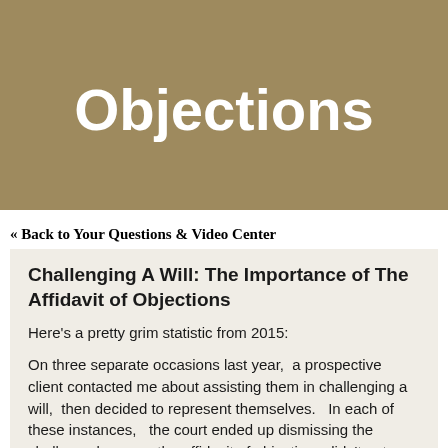Objections
« Back to Your Questions & Video Center
Challenging A Will: The Importance of The Affidavit of Objections
Here's a pretty grim statistic from 2015:
On three separate occasions last year,  a prospective client contacted me about assisting them in challenging a will,  then decided to represent themselves.   In each of these instances,   the court ended up dismissing the challenge because the affidavit of objections didn't get done...